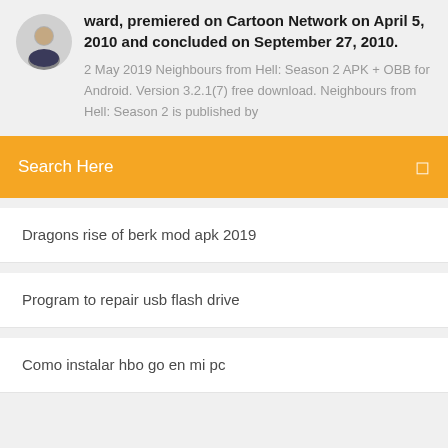ward, premiered on Cartoon Network on April 5, 2010 and concluded on September 27, 2010.
2 May 2019 Neighbours from Hell: Season 2 APK + OBB for Android. Version 3.2.1(7) free download. Neighbours from Hell: Season 2 is published by
Search Here
Dragons rise of berk mod apk 2019
Program to repair usb flash drive
Como instalar hbo go en mi pc